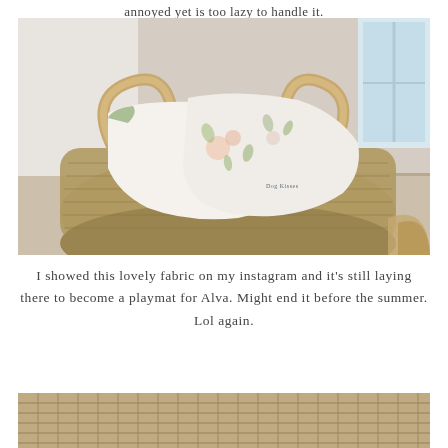annoyed yet is too lazy to handle it.
[Figure (photo): A large woven seagrass basket with rope handles sitting on a black-and-white patterned rug, with white floral-printed fabric draped over the side. A window and hardwood floor are visible in the background. Another woven basket is partially visible at the bottom right.]
I showed this lovely fabric on my instagram and it's still laying there to become a playmat for Alva. Might end it before the summer. Lol again.
[Figure (photo): Partial view of a woven mat or rug with fringe, photographed from above on a light surface.]